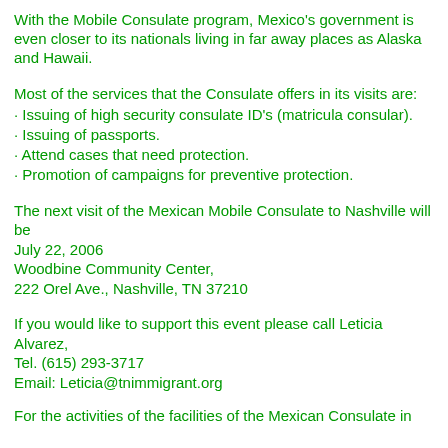With the Mobile Consulate program, Mexico's government is even closer to its nationals living in far away places as Alaska and Hawaii.
Most of the services that the Consulate offers in its visits are:
· Issuing of high security consulate ID's (matricula consular).
· Issuing of passports.
· Attend cases that need protection.
· Promotion of campaigns for preventive protection.
The next visit of the Mexican Mobile Consulate to Nashville will be
July 22, 2006
Woodbine Community Center,
222 Orel Ave., Nashville, TN 37210
If you would like to support this event please call Leticia Alvarez,
Tel. (615) 293-3717
Email: Leticia@tnimmigrant.org
For the activities of the facilities of the Mexican Consulate in...